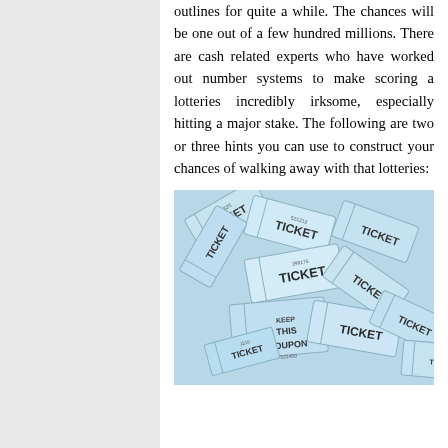outlines for quite a while. The chances will be one out of a few hundred millions. There are cash related experts who have worked out number systems to make scoring a lotteries incredibly irksome, especially hitting a major stake. The following are two or three hints you can use to construct your chances of walking away with that lotteries:
[Figure (photo): A pile of blue lottery/raffle tickets with 'TICKET' and 'COUPON' printed on them, along with various serial numbers like 521525, 521213, 521460, 1215, 299175.]